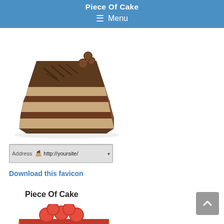Piece Of Cake
☰ Menu
[Figure (illustration): Illustrated slice of chocolate layer cake with cream filling and chocolate decorations on top]
[Figure (screenshot): Browser address bar showing: Address | cake icon | http://yoursite/ | dropdown arrow]
Download this favicon
Piece Of Cake
[Figure (illustration): Illustrated slice of strawberry/cherry pie with red topping and yellow crust, partially visible at bottom]
[Figure (other): Scroll-to-top button, gray square with upward arrow]